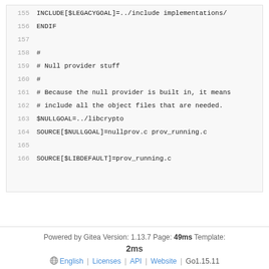155   INCLUDE[$LEGACYGOAL]=../include implementations/
156   ENDIF
157   
158   #
159   # Null provider stuff
160   #
161   # Because the null provider is built in, it means
162   # include all the object files that are needed.
163   $NULLGOAL=../libcrypto
164   SOURCE[$NULLGOAL]=nullprov.c prov_running.c
165   
166   SOURCE[$LIBDEFAULT]=prov_running.c
Powered by Gitea Version: 1.13.7 Page: 49ms Template: 2ms
English | Licenses | API | Website | Go1.15.11